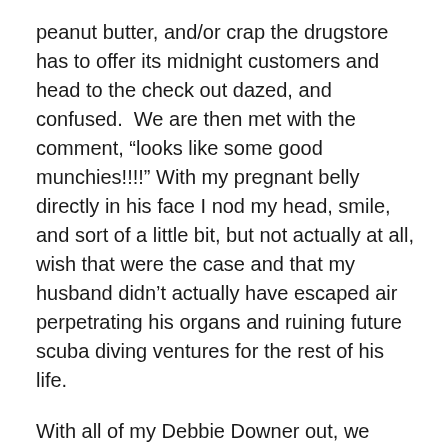peanut butter, and/or crap the drugstore has to offer its midnight customers and head to the check out dazed, and confused.  We are then met with the comment, “looks like some good munchies!!!!” With my pregnant belly directly in his face I nod my head, smile, and sort of a little bit, but not actually at all, wish that were the case and that my husband didn’t actually have escaped air perpetrating his organs and ruining future scuba diving ventures for the rest of his life.
With all of my Debbie Downer out, we make it home and add another 2 hours of sleep to our 72 hour mostly awake record. Thankfully, in a house of 26 of my favorite children, and most of my favorite adults, it takes about 5 minutes to get over it and enjoy the sun, even with the ankles, and the water, even with the flesh eating bacteria, the dinners, even